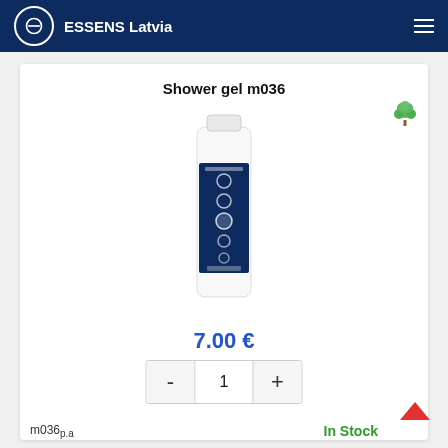ESSENS Latvia
Shower gel m036
[Figure (photo): Product photo of ESSENS Shower gel m036 — white bottle with dark navy blue label featuring circular logo marks]
7.00 €
- 1 +
m036...
In Stock